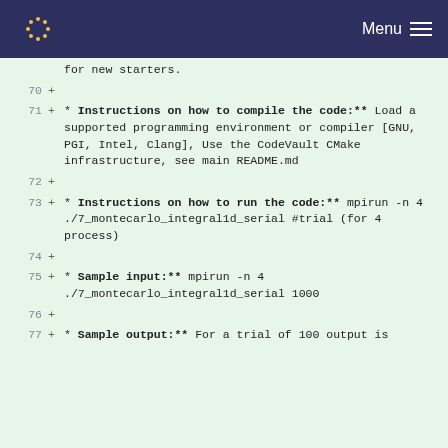Menu
for new starters.
70 +
71 + * **Instructions on how to compile the code:** Load a supported programming environment or compiler [GNU, PGI, Intel, Clang], Use the CodeVault CMake infrastructure, see main README.md
72 +
73 + * **Instructions on how to run the code:** mpirun -n 4 ./7_montecarlo_integral1d_serial #trial (for 4 process)
74 +
75 + * **Sample input:** mpirun -n 4 ./7_montecarlo_integral1d_serial 1000
76 +
77 + * **Sample output:** For a trial of 100 output is